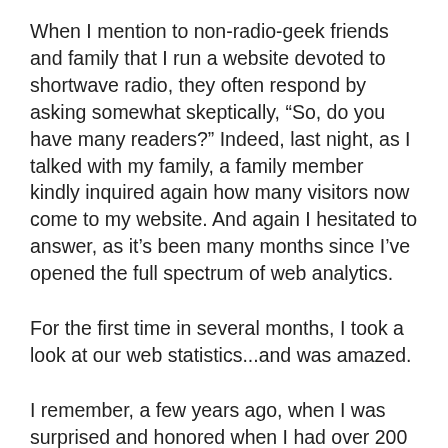When I mention to non-radio-geek friends and family that I run a website devoted to shortwave radio, they often respond by asking somewhat skeptically, “So, do you have many readers?” Indeed, last night, as I talked with my family, a family member kindly inquired again how many visitors now come to my website. And again I hesitated to answer, as it’s been many months since I’ve opened the full spectrum of web analytics.
For the first time in several months, I took a look at our web statistics...and was amazed.
I remember, a few years ago, when I was surprised and honored when I had over 200 daily pageviews on my site.  It was amazing to think that, in a 24 hour period of time, 200 pages of content had been read; thus, how many SWLers must be aspiring to, or enjoying, the hobby–!  Over the past few years, that number has grown by leaps and bounds: last night, I found that this site now averages about 173,000